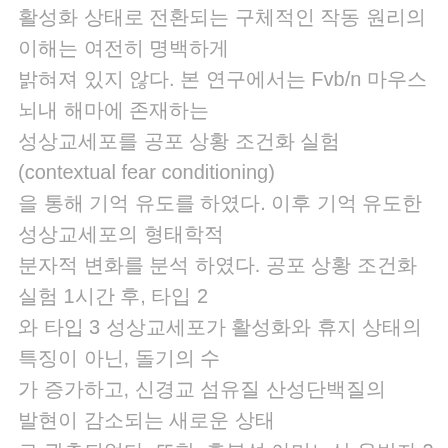활성화 상태로 전환되는 구체적인 작동 원리의 이해는 여전히 명백하게 밝혀져 있지 않다. 본 연구에서는 Fvb/n 마우스 뇌내 해마에 존재하는 성상교세포를 공포 상황 조건화 실험 (contextual fear conditioning) 을 통해 기억 유도를 하였다. 이후 기억 유도한 성상교세포의 형태학적 분자적 변화를 분석 하였다. 공포 상황 조건화 실험 1시간 후, 타입 2 와 타입 3 성상교세포가 활성화와 휴지 상태의 특징이 아닌, 돌기의 수 가 증가하고, 신경교 섬유질 산성단백질의 발현이 감소되는 새로운 상태 로 관측되었다. 또한, 흥분성 아미노산 운반자 2 (excitatory amino acid transporter 2: EAAT2)의 단백질 발현이 공포 상황 조건화 후 1시간 에서 24시간까지 단백질 발현이 증가하였지만, 흥분성